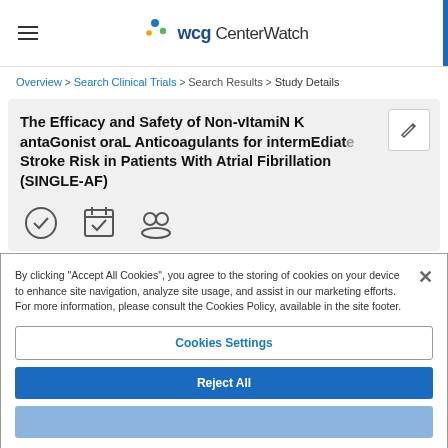WCG CenterWatch
Overview > Search Clinical Trials > Search Results > Study Details
The Efficacy and Safety of Non-vItamiN K antaGonist oraL Anticoagulants for intermEdiate Stroke Risk in Patients With Atrial Fibrillation (SINGLE-AF)
By clicking "Accept All Cookies", you agree to the storing of cookies on your device to enhance site navigation, analyze site usage, and assist in our marketing efforts. For more information, please consult the Cookies Policy, available in the site footer.
Cookies Settings
Reject All